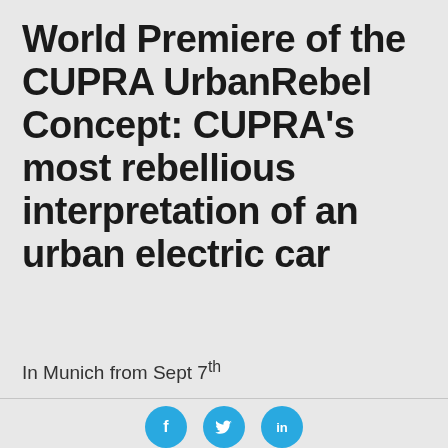World Premiere of the CUPRA UrbanRebel Concept: CUPRA's most rebellious interpretation of an urban electric car
In Munich from Sept 7th
[Figure (other): Social media sharing icons: Facebook (f), Twitter (bird), LinkedIn (in) — three circular blue buttons in a row]